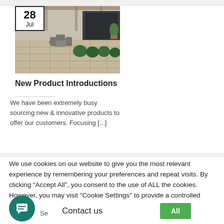[Figure (photo): Outdoor patio with stone tile flooring, chairs, table, pergola, potted plants]
New Product Introductions
We have been extremely busy sourcing new & innovative products to offer our customers. Focusing [...]
We use cookies on our website to give you the most relevant experience by remembering your preferences and repeat visits. By clicking “Accept All”, you consent to the use of ALL the cookies. However, you may visit "Cookie Settings" to provide a controlled consent.
Contact us